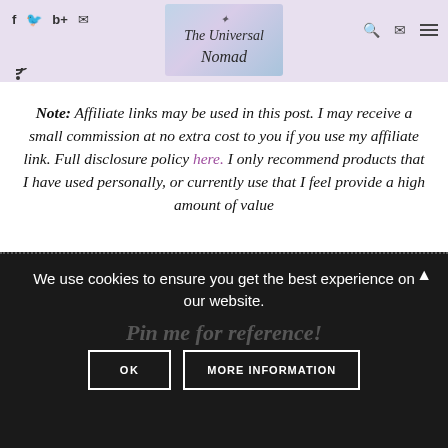The Universal Nomad — website header with social icons and navigation
Note: Affiliate links may be used in this post. I may receive a small commission at no extra cost to you if you use my affiliate link. Full disclosure policy here. I only recommend products that I have used personally, or currently use that I feel provide a high amount of value
We use cookies to ensure you get the best experience on our website.
Pin me for reference!
OK   MORE INFORMATION